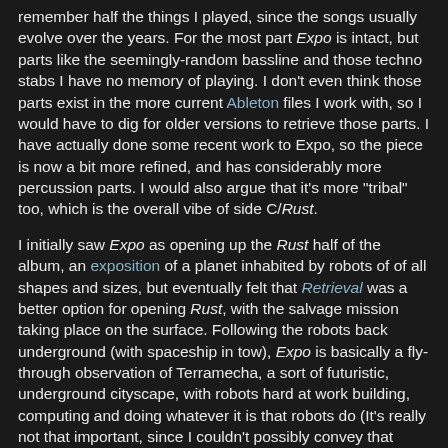remember half the things I played, since the songs usually evolve over the years. For the most part Expo is intact, but parts like the seemingly-random bassline and those techno stabs I have no memory of playing. I don't even think those parts exist in the more current Ableton files I work with, so I would have to dig for older versions to retrieve those parts. I have actually done some recent work to Expo, so the piece is now a bit more refined, and has considerably more percussion parts. I would also argue that it's more "tribal" too, which is the overall vibe of side C/Rust.
I initially saw Expo as opening up the Rust half of the album, an exposition of a planet inhabited by robots of of all shapes and sizes, but eventually felt that Retrieval was a better option for opening Rust, with the salvage mission taking place on the surface. Following the robots back underground (with spaceship in tow), Expo is basically a fly-through observation of Terramecha, a sort of futuristic, underground cityscape, with robots hard at work building, computing and doing whatever it is that robots do (It's really not that important, since I couldn't possibly convey that musically). If there's one thing I'd like to convey, it's that Terramecha is